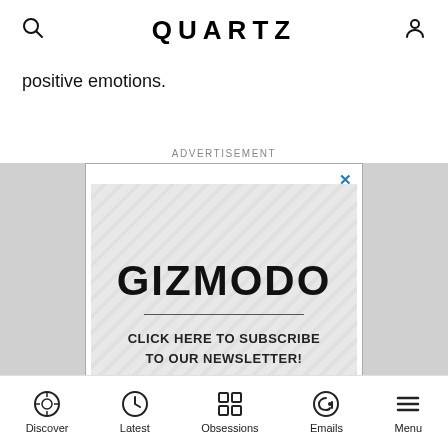QUARTZ
positive emotions.
ADVERTISEMENT
[Figure (screenshot): Gizmodo advertisement banner with diagonal stripe background, large bold GIZMODO text, a horizontal divider line, and text reading CLICK HERE TO SUBSCRIBE TO OUR NEWSLETTER!]
Discover  Latest  Obsessions  Emails  Menu